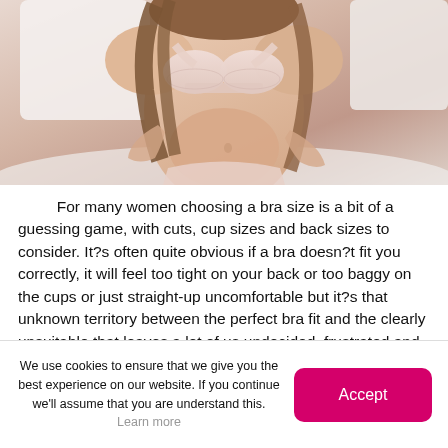[Figure (photo): A woman wearing a light pink/nude lace bralette and matching underwear, sitting in front of a white bed with white pillows. She has long brown wavy hair. The image is cropped to show from below the face to the waist/hip area.]
For many women choosing a bra size is a bit of a guessing game, with cuts, cup sizes and back sizes to consider. It?s often quite obvious if a bra doesn?t fit you correctly, it will feel too tight on your back or too baggy on the cups or just straight-up uncomfortable but it?s that unknown territory between the perfect bra fit and the clearly unsuitable that leaves a lot of us undecided, frustrated and wearing the wrong
We use cookies to ensure that we give you the best experience on our website. If you continue we'll assume that you are understand this. Learn more